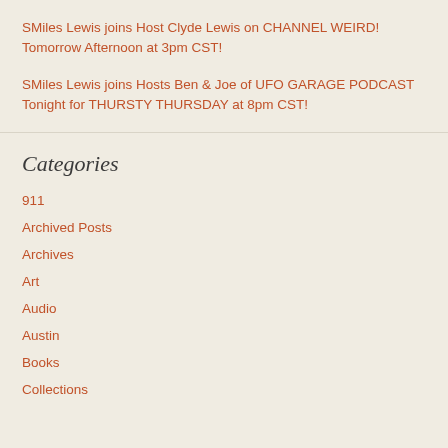SMiles Lewis joins Host Clyde Lewis on CHANNEL WEIRD! Tomorrow Afternoon at 3pm CST!
SMiles Lewis joins Hosts Ben & Joe of UFO GARAGE PODCAST Tonight for THURSTY THURSDAY at 8pm CST!
Categories
911
Archived Posts
Archives
Art
Audio
Austin
Books
Collections